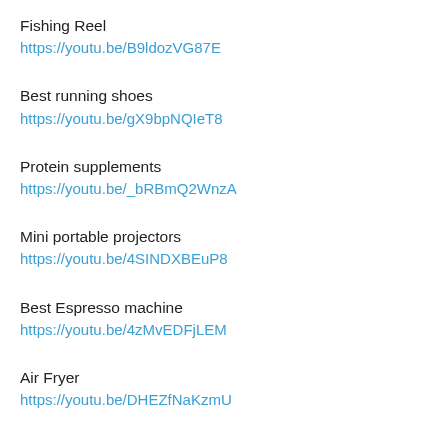Fishing Reel
https://youtu.be/B9ldozVG87E
Best running shoes
https://youtu.be/gX9bpNQIeT8
Protein supplements
https://youtu.be/_bRBmQ2WnzA
Mini portable projectors
https://youtu.be/4SINDXBEuP8
Best Espresso machine
https://youtu.be/4zMvEDFjLEM
Air Fryer
https://youtu.be/DHEZfNaKzmU